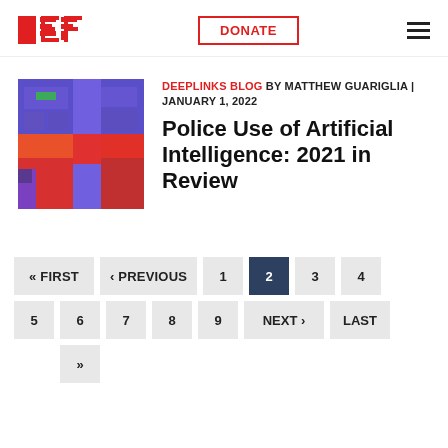EFF | DONATE | (menu)
[Figure (illustration): Colorful stylized aerial map illustration with purple, red, and orange blocks representing city streets and buildings]
DEEPLINKS BLOG BY MATTHEW GUARIGLIA | JANUARY 1, 2022
Police Use of Artificial Intelligence: 2021 in Review
« FIRST ‹ PREVIOUS 1 2 3 4 5 6 7 8 9 NEXT › LAST »